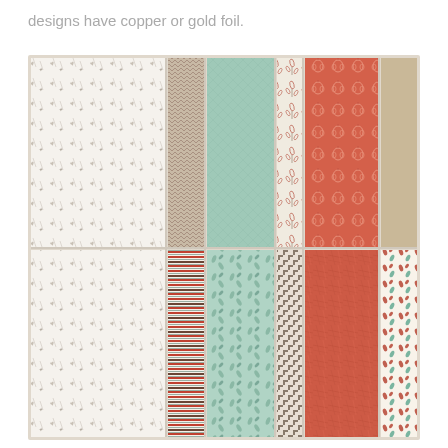designs have copper or gold foil.
[Figure (illustration): A collection of 10 patterned paper swatches arranged in two rows of 5. Top row: white with grey leaf/botanical sketches, taupe/brown chevron pattern, solid mint/sage green with texture, cream with coral leaf sprigs, coral/terracotta with pumpkin outlines, and tan/kraft solid. Bottom row: white with grey botanical sketches (continued), red/cream/blue thin stripes, mint green with tossed leaf pattern, brown houndstooth/plaid check, solid coral/terracotta distressed texture, cream with small coral and teal leaf motifs.]